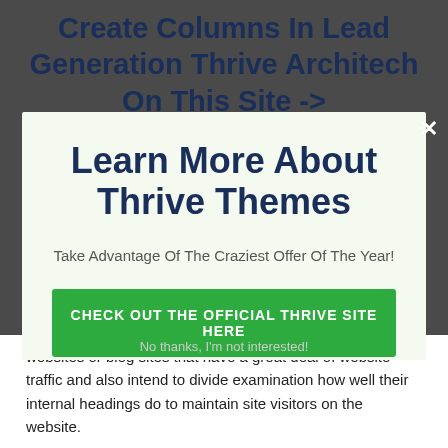Create Columns In Lead Generation Thrive Architech On This Site ->
Learn More About Thrive Themes
Take Advantage Of The Craziest Offer Of The Year!
CHECK OUT THE OFFICIAL THRIVE SITE HERE
No thanks, I'm not interested!
websites or blog sites that have a great deal of website traffic and also intend to divide examination how well their internal headings do to maintain site visitors on the website.